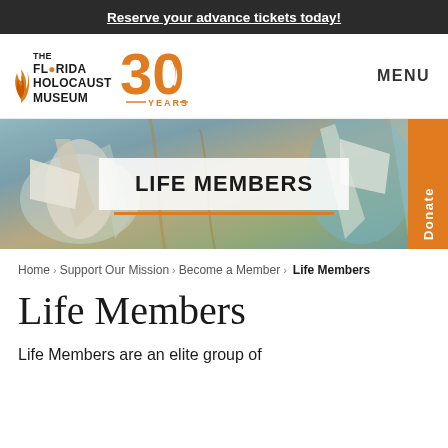Reserve your advance tickets today!
[Figure (logo): The Florida Holocaust Museum 30 Years logo with flame icon and orange 30 badge, with MENU text on the right]
[Figure (photo): Hero banner showing a painting with flags and abstract figures in blue, teal, and brown tones, overlaid with a white box reading LIFE MEMBERS in bold uppercase text. An orange Donate tab is visible on the right edge.]
Home › Support Our Mission › Become a Member › Life Members
Life Members
Life Members are an elite group of